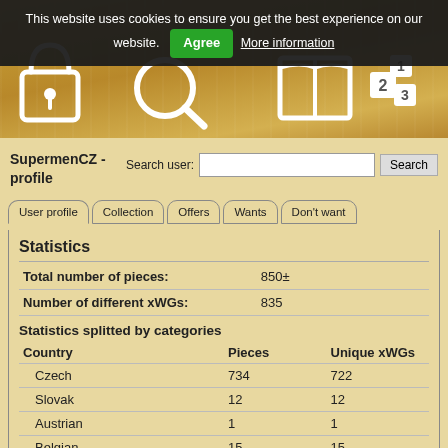This website uses cookies to ensure you get the best experience on our website. Agree More information
[Figure (screenshot): Wood-textured header with white icons: padlock, magnifying glass, open book, and a numbered tile (2, 1, 3)]
SupermenCZ - profile
Search user: [input] Search
User profile | Collection | Offers | Wants | Don't want
Statistics
| Total number of pieces: | 850± |
| Number of different xWGs: | 835 |
Statistics splitted by categories
| Country | Pieces | Unique xWGs |
| --- | --- | --- |
| Czech | 734 | 722 |
| Slovak | 12 | 12 |
| Austrian | 1 | 1 |
| Belgian | 15 | 15 |
| Croatian | 2 | 2 |